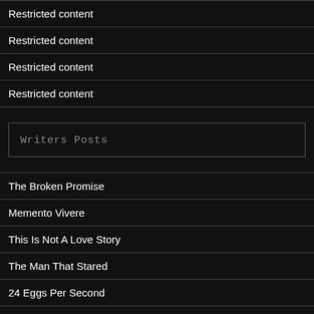Restricted content
Restricted content
Restricted content
Restricted content
Writers Posts
The Broken Promise
Memento Vivere
This Is Not A Love Story
The Man That Stared
24 Eggs Per Second